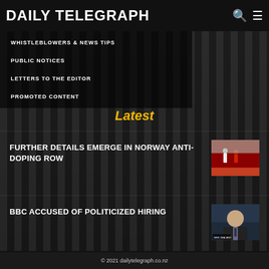DAILY TELEGRAPH
WHISTLEBLOWERS & NEWS TIPS
PUBLIC NOTICES
LETTERS TO THE EDITOR
PROMOTED CONTENT
Latest
FURTHER DETAILS EMERGE IN NORWAY ANTI-DOPING ROW
[Figure (photo): Two athletes on a running track, one in white and one in red]
BBC ACCUSED OF POLITICIZED HIRING
[Figure (photo): Man in suit, appears to be Boris Johnson, speaking or being interviewed]
© 2021 dailytelegraph.co.nz